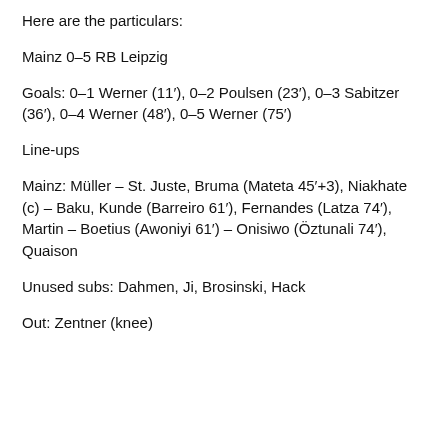Here are the particulars:
Mainz 0–5 RB Leipzig
Goals: 0–1 Werner (11′), 0–2 Poulsen (23′), 0–3 Sabitzer (36′), 0–4 Werner (48′), 0–5 Werner (75′)
Line-ups
Mainz: Müller – St. Juste, Bruma (Mateta 45′+3), Niakhate (c) – Baku, Kunde (Barreiro 61′), Fernandes (Latza 74′), Martin – Boetius (Awoniyi 61′) – Onisiwo (Öztunali 74′), Quaison
Unused subs: Dahmen, Ji, Brosinski, Hack
Out: Zentner (knee)